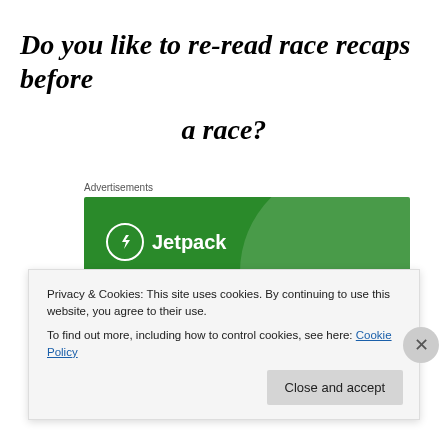Do you like to re-read race recaps before a race?
Advertisements
[Figure (illustration): Jetpack advertisement banner with green background, Jetpack logo and bolt icon, large green circle decoration, and text 'Like an undo button for your']
Privacy & Cookies: This site uses cookies. By continuing to use this website, you agree to their use.
To find out more, including how to control cookies, see here: Cookie Policy
Close and accept